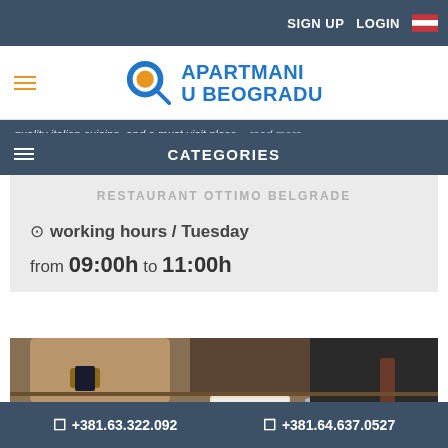SIGN UP  LOGIN
[Figure (logo): Apartmani u Beogradu logo with magnifying glass icon]
quality italian cuisine, and a must visit place... read more
CATEGORIES
RESTAURANT OTTIMO BELGRADE
working hours / Tuesday
from 09:00h to 11:00h
[Figure (photo): People dining at a restaurant table with pizza and glasses of water]
+381.63.322.092  +381.64.637.0527